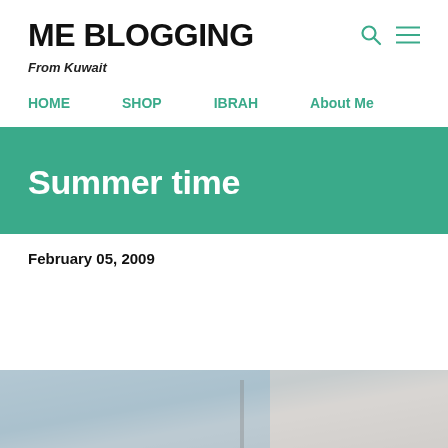ME BLOGGING
From Kuwait
HOME   SHOP   IBRAH   About Me
Summer time
February 05, 2009
[Figure (photo): Bottom portion of a photo showing outdoor summer scene, partially visible]